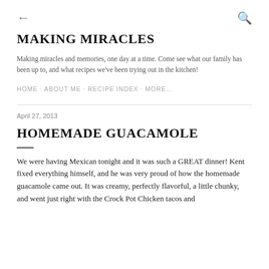← (back) 🔍 (search)
MAKING MIRACLES
Making miracles and memories, one day at a time. Come see what our family has been up to, and what recipes we've been trying out in the kitchen!
HOME · ABOUT ME · RECIPE INDEX · MORE...
April 27, 2013
HOMEMADE GUACAMOLE
We were having Mexican tonight and it was such a GREAT dinner! Kent fixed everything himself, and he was very proud of how the homemade guacamole came out. It was creamy, perfectly flavorful, a little chunky, and went just right with the Crock Pot Chicken tacos and